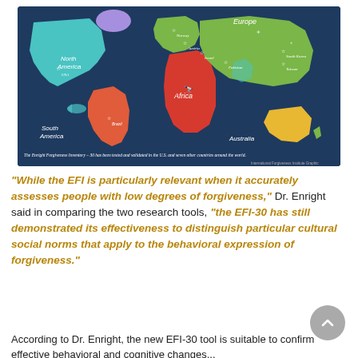[Figure (map): World map showing countries where the Enright Forgiveness Inventory-30 has been tested and validated, including the U.S., Norway, Austria, Israel, Pakistan, South Korea, Taiwan, Brazil, and other countries. Map caption reads: 'The Enright Forgiveness Inventory – 30 has been tested and validated in the U.S. and seven other countries around the world.' Source: International Forgiveness Institute Graphic.]
“While the EFI is particularly relevant when it accurately assesses people with low degrees of forgiveness,” Dr. Enright said in comparing the two research tools, “the EFI-30 has still demonstrated its effectiveness to distinguish particular cultural social norms that apply to the behavioral expression of forgiveness.”
According to Dr. Enright, the new EFI-30 tool is suitable to confirm effective behavioral and cognitive changes...